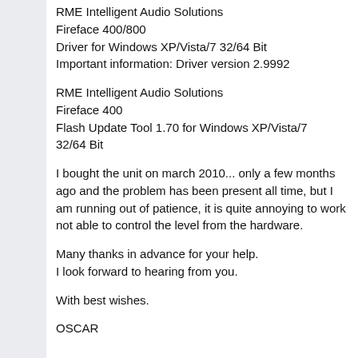RME Intelligent Audio Solutions
Fireface 400/800
Driver for Windows XP/Vista/7 32/64 Bit
Important information: Driver version 2.9992
RME Intelligent Audio Solutions
Fireface 400
Flash Update Tool 1.70 for Windows XP/Vista/7 32/64 Bit
I bought the unit on march 2010... only a few months ago and the problem has been present all time, but I am running out of patience, it is quite annoying to work not able to control the level from the hardware.
Many thanks in advance for your help.
I look forward to hearing from you.
With best wishes.
OSCAR